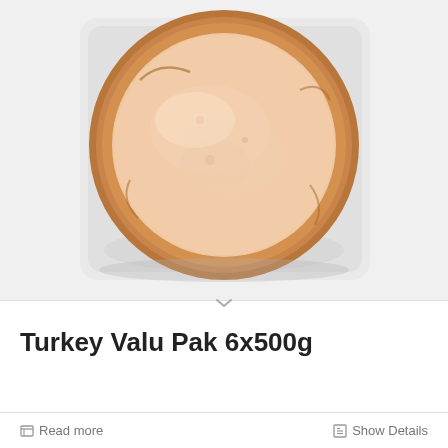[Figure (photo): A packaged turkey deli meat product showing a round disc of sliced turkey breast meat in a clear plastic tray/packaging. The meat is light pinkish-beige in color with a golden-brown edge/casing around the circumference.]
Turkey Valu Pak 6x500g
Read more
Show Details